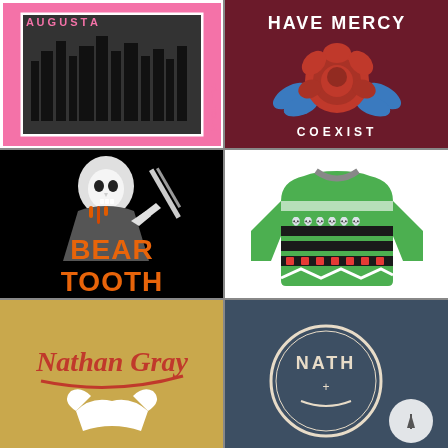[Figure (illustration): Graphic design with pink text and city skyline in black and white, college/band style design with text 'Augusta' and similar text on sides]
[Figure (illustration): Have Mercy band merch - dark maroon background with white text 'HAVE MERCY' at top, red rose with blue leaves, and white 'COEXIST' text below]
[Figure (illustration): Beartooth band merch - black background with grim reaper holding a knife and orange drip text 'BEAR TOOTH']
[Figure (illustration): Holiday/Christmas ugly sweater - green sweater with patterns of skulls, stockings, Christmas trees, and decorations]
[Figure (illustration): Nathan Gray band merch - gold/tan background with red cursive 'Nathan Gray' script logo and a bird graphic below]
[Figure (illustration): Nathan Gray logo on slate blue background - circular badge with 'NATH' visible and a scroll/navigation arrow overlay]